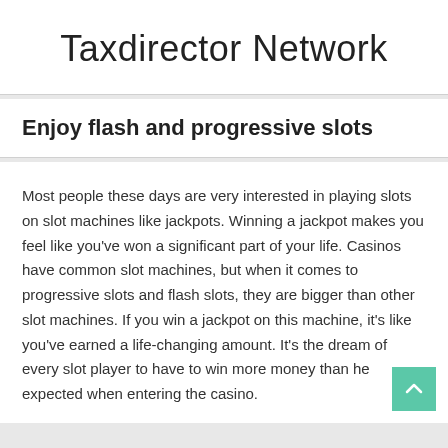Taxdirector Network
Enjoy flash and progressive slots
Most people these days are very interested in playing slots on slot machines like jackpots. Winning a jackpot makes you feel like you’ve won a significant part of your life. Casinos have common slot machines, but when it comes to progressive slots and flash slots, they are bigger than other slot machines. If you win a jackpot on this machine, it’s like you’ve earned a life-changing amount. It’s the dream of every slot player to have to win more money than he expected when entering the casino.